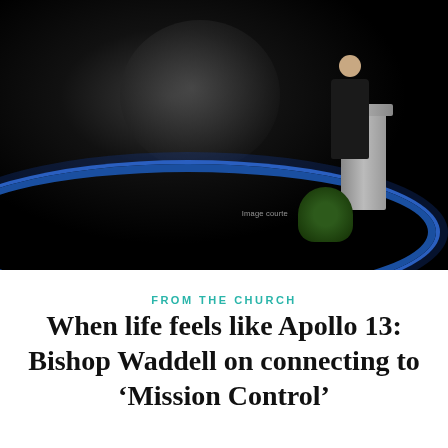[Figure (photo): A man in a dark suit stands at a grey podium on a circular stage with blue ring decor, speaking before a large dark backdrop showing what appears to be a spacecraft or moon image. A green plant sits beside the podium. 'Image courtesy' watermark appears faintly.]
FROM THE CHURCH
When life feels like Apollo 13: Bishop Waddell on connecting to 'Mission Control'